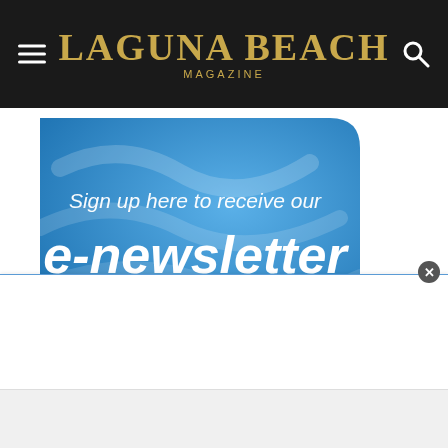Laguna Beach Magazine
[Figure (illustration): Blue sticker-style graphic with curled corner, reading 'Sign up here to receive our e-newsletter']
[Figure (screenshot): White popup advertisement bar at bottom of page with a close (x) button in top-right corner and a light gray footer bar below it]